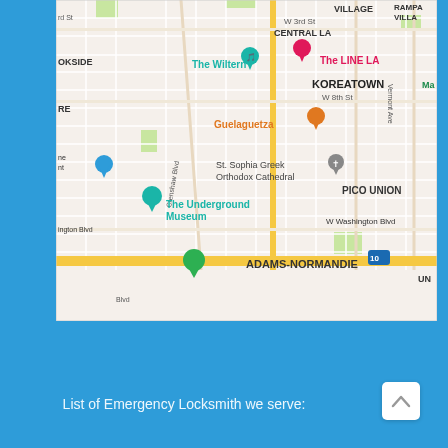[Figure (map): Google Maps screenshot showing Koreatown and surrounding neighborhoods in Los Angeles, CA. Landmarks visible include The Wiltern, The LINE LA hotel, Guelaguetza restaurant, St. Sophia Greek Orthodox Cathedral, The Underground Museum, PICO UNION, ADAMS-NORMANDIE. Major roads include Crenshaw Blvd, Vermont Ave, S Hoover St, W Washington Blvd, and Interstate 10.]
List of Emergency Locksmith we serve: